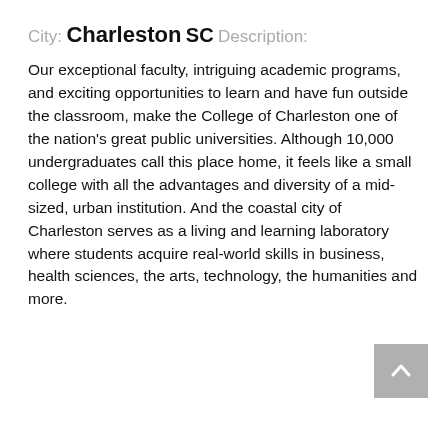City:
Charleston
SC
Description:
Our exceptional faculty, intriguing academic programs, and exciting opportunities to learn and have fun outside the classroom, make the College of Charleston one of the nation's great public universities. Although 10,000 undergraduates call this place home, it feels like a small college with all the advantages and diversity of a mid-sized, urban institution. And the coastal city of Charleston serves as a living and learning laboratory where students acquire real-world skills in business, health sciences, the arts, technology, the humanities and more.